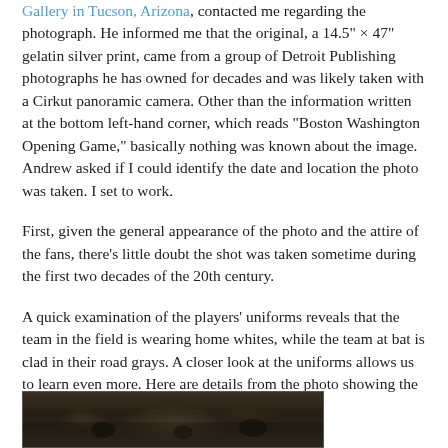Gallery in Tucson, Arizona, contacted me regarding the photograph. He informed me that the original, a 14.5" × 47" gelatin silver print, came from a group of Detroit Publishing photographs he has owned for decades and was likely taken with a Cirkut panoramic camera. Other than the information written at the bottom left-hand corner, which reads “Boston Washington Opening Game,” basically nothing was known about the image. Andrew asked if I could identify the date and location the photo was taken. I set to work.
First, given the general appearance of the photo and the attire of the fans, there’s little doubt the shot was taken sometime during the first two decades of the 20th century.
A quick examination of the players’ uniforms reveals that the team in the field is wearing home whites, while the team at bat is clad in their road grays. A closer look at the uniforms allows us to learn even more. Here are details from the photo showing the center fielder (top) and left fielder (bottom):
[Figure (photo): A dark, aged black-and-white photographic detail showing a baseball field scene, partially visible at the bottom of the page.]